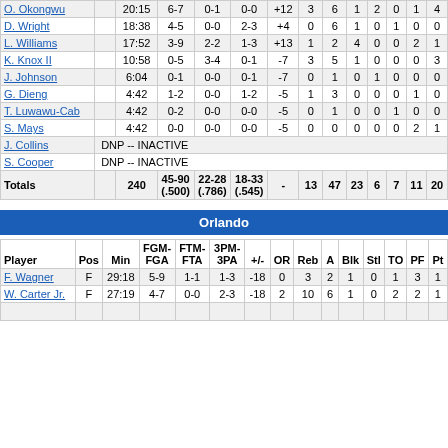| Player |  | Min | FGM-FGA | FTM-FTA | 3PM-3PA | +/- | OR | Reb | A | Blk | Stl | TO | PF | Pt |
| --- | --- | --- | --- | --- | --- | --- | --- | --- | --- | --- | --- | --- | --- | --- |
| O. Okongwu |  | 20:15 | 6-7 | 0-1 | 0-0 | +12 | 3 | 6 | 1 | 2 | 0 | 1 | 4 |  |
| D. Wright |  | 18:38 | 4-5 | 0-0 | 2-3 | +4 | 0 | 6 | 1 | 0 | 1 | 0 | 0 |  |
| L. Williams |  | 17:52 | 3-9 | 2-2 | 1-3 | +13 | 1 | 2 | 4 | 0 | 0 | 2 | 1 |  |
| K. Knox II |  | 10:58 | 0-5 | 3-4 | 0-1 | -7 | 3 | 5 | 1 | 0 | 0 | 0 | 3 |  |
| J. Johnson |  | 6:04 | 0-1 | 0-0 | 0-1 | -7 | 0 | 1 | 0 | 1 | 0 | 0 | 0 |  |
| G. Dieng |  | 4:42 | 1-2 | 0-0 | 1-2 | -5 | 1 | 3 | 0 | 0 | 0 | 1 | 0 |  |
| T. Luwawu-Cab |  | 4:42 | 0-2 | 0-0 | 0-0 | -5 | 0 | 1 | 0 | 0 | 1 | 0 | 0 |  |
| S. Mays |  | 4:42 | 0-0 | 0-0 | 0-0 | -5 | 0 | 0 | 0 | 0 | 0 | 2 | 1 |  |
| J. Collins | DNP -- INACTIVE |  |  |  |  |  |  |  |  |  |  |  |  |  |
| S. Cooper | DNP -- INACTIVE |  |  |  |  |  |  |  |  |  |  |  |  |  |
| Totals |  | 240 | 45-90 (.500) | 22-28 (.786) | 18-33 (.545) | - | 13 | 47 | 23 | 6 | 7 | 11 | 20 |  |
| Player | Pos | Min | FGM-FGA | FTM-FTA | 3PM-3PA | +/- | OR | Reb | A | Blk | Stl | TO | PF | Pt |
| --- | --- | --- | --- | --- | --- | --- | --- | --- | --- | --- | --- | --- | --- | --- |
| F. Wagner | F | 29:18 | 5-9 | 1-1 | 1-3 | -18 | 0 | 3 | 2 | 1 | 0 | 1 | 3 | 1 |
| W. Carter Jr. | F | 27:19 | 4-7 | 0-0 | 2-3 | -18 | 2 | 10 | 6 | 1 | 0 | 2 | 2 | 1 |